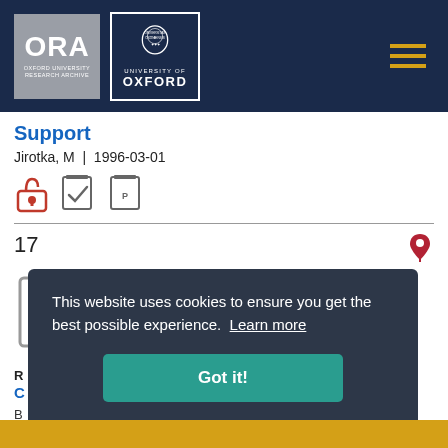[Figure (logo): ORA Oxford University Research Archive logo and University of Oxford logo with crest, on dark navy header with hamburger menu icon]
Support
Jirotka, M  |  1996-03-01
[Figure (infographic): Open access padlock icon, peer review checkmark icon, and PDF icon]
17
[Figure (illustration): Document with pencil/edit icon]
R
C
B
This website uses cookies to ensure you get the best possible experience.  Learn more
Got it!